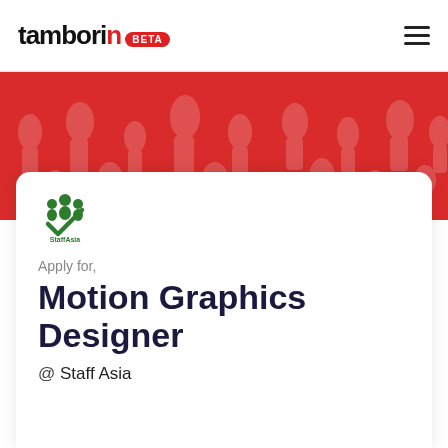tamborin BETA
[Figure (illustration): Red decorative banner background with faint repeating pattern of human figure silhouettes]
[Figure (logo): Staff Asia logo: green checkmark with people icons above, text 'StaffAsia' below]
Apply for,
Motion Graphics Designer
@ Staff Asia